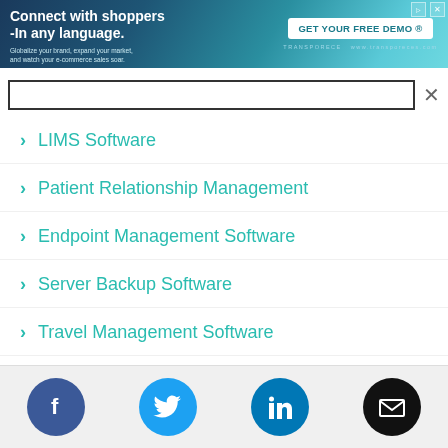[Figure (screenshot): Advertisement banner: 'Connect with shoppers -In any language.' with subtitle 'Globalize your brand, expand your market, and watch your e-commerce sales soar.' and GET YOUR FREE DEMO button on dark teal/blue gradient background]
LIMS Software
Patient Relationship Management
Endpoint Management Software
Server Backup Software
Travel Management Software
IoT Security Software
[Figure (infographic): Social media icon bar: Facebook (blue circle), Twitter (light blue circle), LinkedIn (blue circle), Email (black circle)]